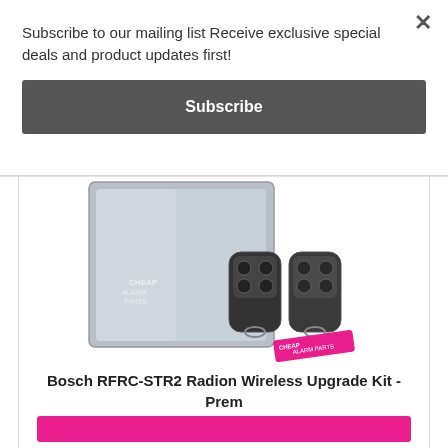Subscribe to our mailing list Receive exclusive special deals and product updates first!
Subscribe
[Figure (photo): Product photo of Bosch RFRC-STR2 Radion Wireless Upgrade Kit showing a silver panel and two black remote key fobs, with Cheap Alarm Parts watermark/logo]
Bosch RFRC-STR2 Radion Wireless Upgrade Kit - Prem
$182.14